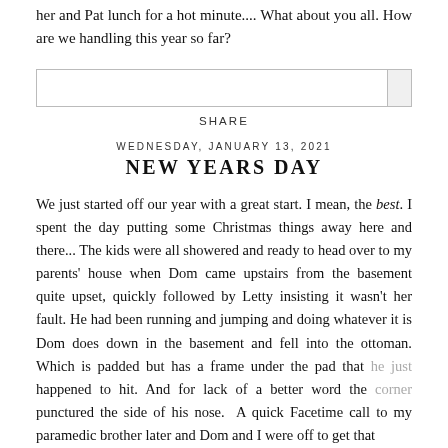her and Pat lunch for a hot minute.... What about you all. How are we handling this year so far?
SHARE
WEDNESDAY, JANUARY 13, 2021
NEW YEARS DAY
We just started off our year with a great start. I mean, the best. I spent the day putting some Christmas things away here and there... The kids were all showered and ready to head over to my parents' house when Dom came upstairs from the basement quite upset, quickly followed by Letty insisting it wasn't her fault. He had been running and jumping and doing whatever it is Dom does down in the basement and fell into the ottoman. Which is padded but has a frame under the pad that he just happened to hit. And for lack of a better word the corner punctured the side of his nose.  A quick Facetime call to my paramedic brother later and Dom and I were off to get that